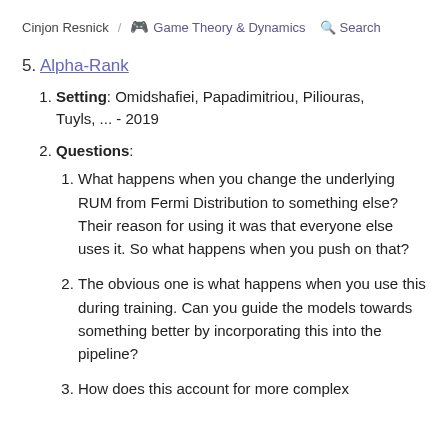Cinjon Resnick / 🎮 Game Theory & Dynamics  🔍 Search
5. Alpha-Rank
Setting: Omidshafiei, Papadimitriou, Piliouras, Tuyls, ... - 2019
Questions:
What happens when you change the underlying RUM from Fermi Distribution to something else? Their reason for using it was that everyone else uses it. So what happens when you push on that?
The obvious one is what happens when you use this during training. Can you guide the models towards something better by incorporating this into the pipeline?
How does this account for more complex